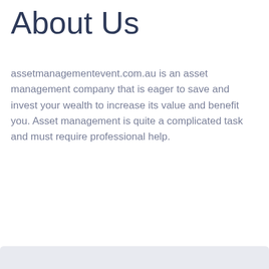About Us
assetmanagementevent.com.au is an asset management company that is eager to save and invest your wealth to increase its value and benefit you. Asset management is quite a complicated task and must require professional help.